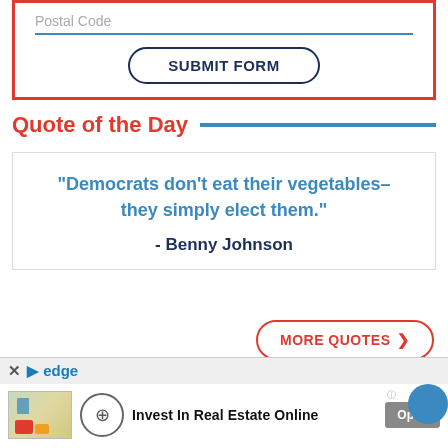Postal Code
SUBMIT FORM
Quote of the Day
"Democrats don't eat their vegetables–they simply elect them." - Benny Johnson
MORE QUOTES >
[Figure (screenshot): Advertisement banner: edge browser ad bar with 'Invest In Real Estate Online' ad and Open button]